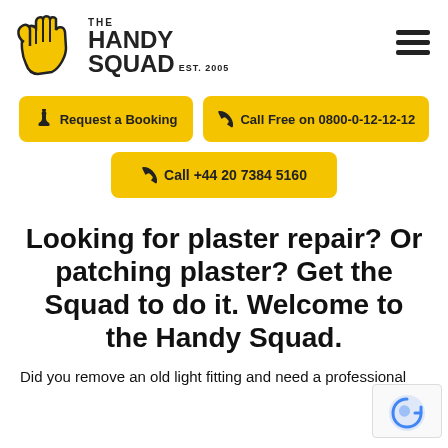[Figure (logo): The Handy Squad logo with yellow hand icon and text THE HANDY SQUAD EST. 2005]
[Figure (other): Hamburger menu icon (three horizontal lines)]
Request a Booking
Call Free on 0800-0-12-12-12
Call +44 20 7384 5160
Looking for plaster repair? Or patching plaster? Get the Squad to do it. Welcome to the Handy Squad.
Did you remove an old light fitting and need a professional